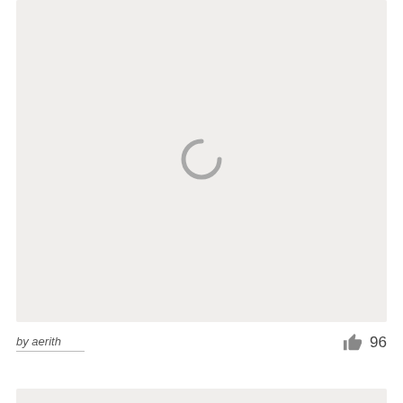[Figure (illustration): A light gray placeholder image card with a loading spinner icon (open circle/horseshoe shape) centered in the middle of the card area.]
by aerith
96